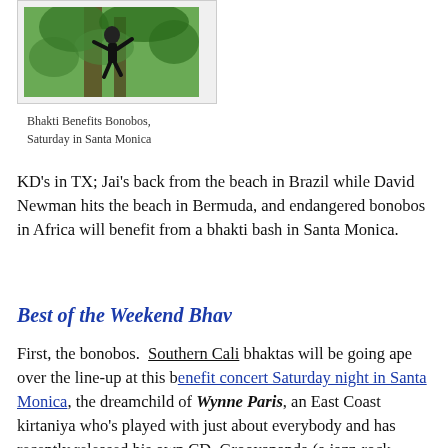[Figure (photo): A person or animal in a tree with green foliage, associated with bonobo wildlife content]
Bhakti Benefits Bonobos, Saturday in Santa Monica
KD's in TX; Jai's back from the beach in Brazil while David Newman hits the beach in Bermuda, and endangered bonobos in Africa will benefit from a bhakti bash in Santa Monica.
Best of the Weekend Bhav
First, the bonobos.  Southern Cali bhaktas will be going ape over the line-up at this benefit concert Saturday night in Santa Monica, the dreamchild of Wynne Paris, an East Coast kirtaniya who's played with just about everybody and has recently released his own CD, Grooyananda (a jazz-rock-gospel-kirtan